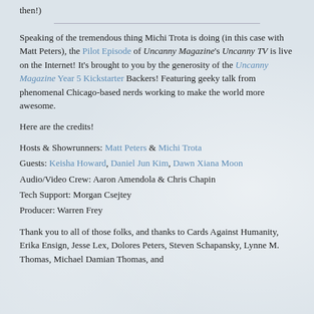then!)
Speaking of the tremendous thing Michi Trota is doing (in this case with Matt Peters), the Pilot Episode of Uncanny Magazine's Uncanny TV is live on the Internet! It's brought to you by the generosity of the Uncanny Magazine Year 5 Kickstarter Backers! Featuring geeky talk from phenomenal Chicago-based nerds working to make the world more awesome.
Here are the credits!
Hosts & Showrunners: Matt Peters & Michi Trota
Guests: Keisha Howard, Daniel Jun Kim, Dawn Xiana Moon
Audio/Video Crew: Aaron Amendola & Chris Chapin
Tech Support: Morgan Csejtey
Producer: Warren Frey
Thank you to all of those folks, and thanks to Cards Against Humanity, Erika Ensign, Jesse Lex, Dolores Peters, Steven Schapansky, Lynne M. Thomas, Michael Damian Thomas, and